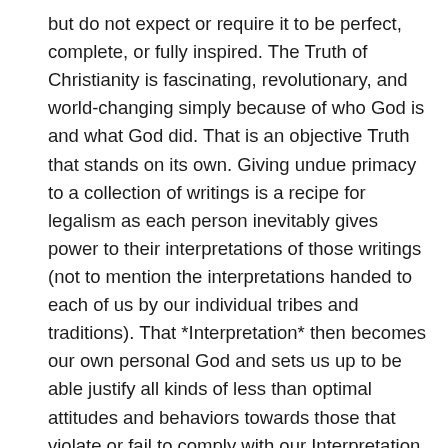but do not expect or require it to be perfect, complete, or fully inspired. The Truth of Christianity is fascinating, revolutionary, and world-changing simply because of who God is and what God did. That is an objective Truth that stands on its own. Giving undue primacy to a collection of writings is a recipe for legalism as each person inevitably gives power to their interpretations of those writings (not to mention the interpretations handed to each of us by our individual tribes and traditions). That *Interpretation* then becomes our own personal God and sets us up to be able justify all kinds of less than optimal attitudes and behaviors towards those that violate or fail to comply with our Interpretation. As for me, I choose to trust